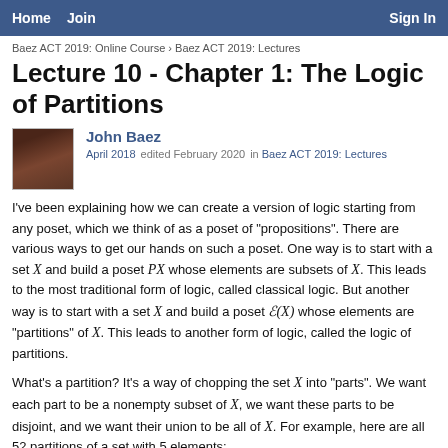Home  Join  Sign In
Baez ACT 2019: Online Course › Baez ACT 2019: Lectures
Lecture 10 - Chapter 1: The Logic of Partitions
John Baez
April 2018   edited February 2020   in Baez ACT 2019: Lectures
I've been explaining how we can create a version of logic starting from any poset, which we think of as a poset of "propositions". There are various ways to get our hands on such a poset. One way is to start with a set X and build a poset PX whose elements are subsets of X. This leads to the most traditional form of logic, called classical logic. But another way is to start with a set X and build a poset ε(X) whose elements are "partitions" of X. This leads to another form of logic, called the logic of partitions.
What's a partition? It's a way of chopping the set X into "parts". We want each part to be a nonempty subset of X, we want these parts to be disjoint, and we want their union to be all of X. For example, here are all 52 partitions of a set with 5 elements: